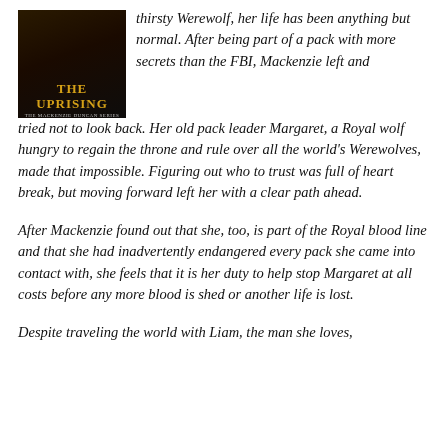[Figure (illustration): Book cover for 'The Uprising: The Mackenzie Duncan Series' with dark background and golden title text]
thirsty Werewolf, her life has been anything but normal. After being part of a pack with more secrets than the FBI, Mackenzie left and tried not to look back. Her old pack leader Margaret, a Royal wolf hungry to regain the throne and rule over all the world's Werewolves, made that impossible. Figuring out who to trust was full of heart break, but moving forward left her with a clear path ahead.
After Mackenzie found out that she, too, is part of the Royal blood line and that she had inadvertently endangered every pack she came into contact with, she feels that it is her duty to help stop Margaret at all costs before any more blood is shed or another life is lost.
Despite traveling the world with Liam, the man she loves,